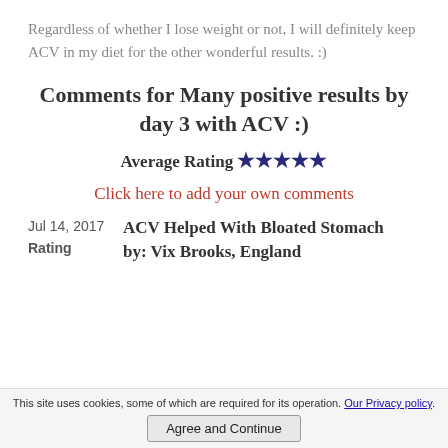Regardless of whether I lose weight or not, I will definitely keep ACV in my diet for the other wonderful results. :)
Comments for Many positive results by day 3 with ACV :)
Average Rating ★★★★★
Click here to add your own comments
Jul 14, 2017   ACV Helped With Bloated Stomach
Rating           by: Vix Brooks, England
This site uses cookies, some of which are required for its operation. Our Privacy policy.
Agree and Continue